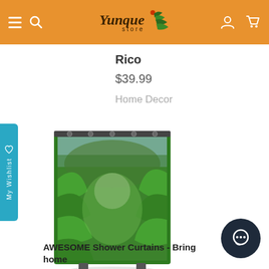Yunque store — navigation header with hamburger menu, search, logo, user and cart icons
Rico
$39.99
Home Decor
[Figure (photo): Shower curtain product photo showing a lush tropical rainforest scene with green foliage, displayed on a curtain rod stand]
AWESOME Shower Curtains - Bring home